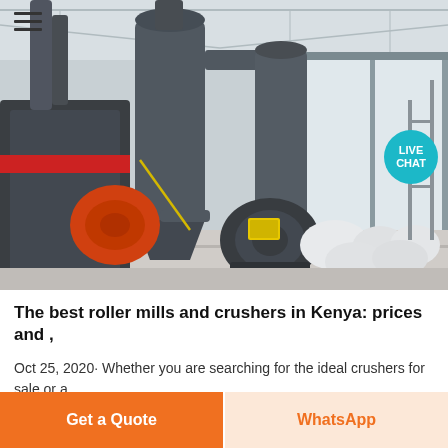[Figure (photo): Industrial milling facility with large metal machinery including cyclone dust collectors, blowers, and pipe systems inside a workshop. Large white powder bags visible in background right.]
The best roller mills and crushers in Kenya: prices and ,
Oct 25, 2020· Whether you are searching for the ideal crushers for sale or a